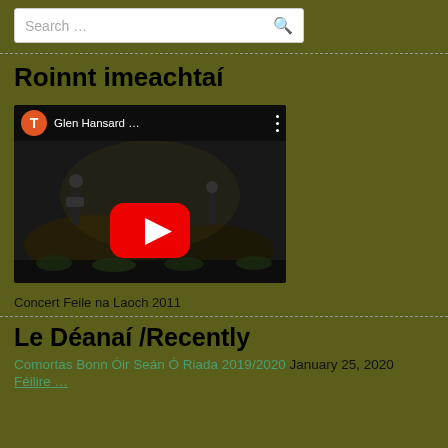Search …
Roinnt imeachtaí
[Figure (screenshot): YouTube video thumbnail showing Glen Hansard concert with play button, channel icon T in orange circle, title 'Glen Hansard …', and three-dot menu]
Concert Feile na Laoch 2011
Le Déanaí /Recently
Comortas Bonn Óir Seán Ó Riada 2019/2020  January 25, 2020